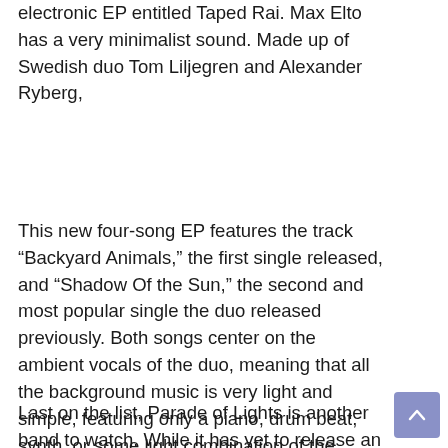electronic EP entitled Taped Rai. Max Elto has a very minimalist sound. Made up of Swedish duo Tom Liljegren and Alexander Ryberg,
This new four-song EP features the track “Backyard Animals,” the first single released, and “Shadow Of the Sun,” the second and most popular single the duo released previously. Both songs center on the ambient vocals of the duo, meaning that all the background music is very light and simple, featuring only a piano, drum beat, synth, or some light combination of the three. If you enjoy the music of groups like Miike Snow, I would give Max Elto a listen.
Last on the list, Parade of Lights is another band to watch. While it has yet to release an